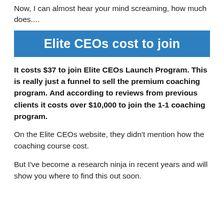Now, I can almost hear your mind screaming, how much does....
Elite CEOs cost to join
It costs $37 to join Elite CEOs Launch Program. This is really just a funnel to sell the premium coaching program. And according to reviews from previous clients it costs over $10,000 to join the 1-1 coaching program.
On the Elite CEOs website, they didn't mention how the coaching course cost.
But I've become a research ninja in recent years and will show you where to find this out soon.